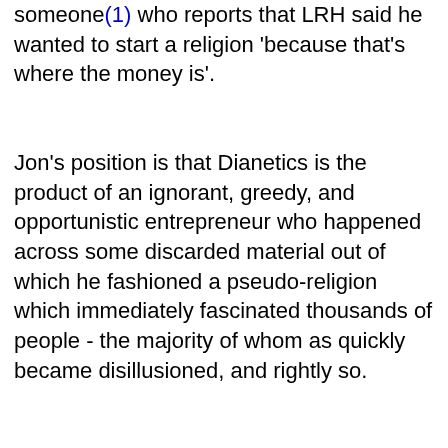someone(1) who reports that LRH said he wanted to start a religion 'because that's where the money is'.
Jon's position is that Dianetics is the product of an ignorant, greedy, and opportunistic entrepreneur who happened across some discarded material out of which he fashioned a pseudo-religion which immediately fascinated thousands of people - the majority of whom as quickly became disillusioned, and rightly so.
The further implication is that Freud dumped his work on traumatic incidents and their chains because he found in practice that he couldn't make it work to the patients' benefit, or because he found it not relevant, or perhaps even damaging. If Freud of all people didn't want it, Jon asks us to agree, what